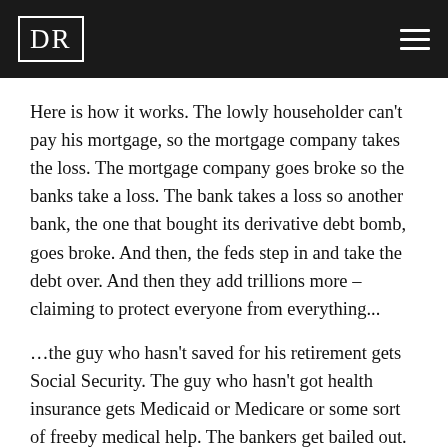DR
Here is how it works. The lowly householder can't pay his mortgage, so the mortgage company takes the loss. The mortgage company goes broke so the banks take a loss. The bank takes a loss so another bank, the one that bought its derivative debt bomb, goes broke. And then, the feds step in and take the debt over. And then they add trillions more – claiming to protect everyone from everything...
…the guy who hasn't saved for his retirement gets Social Security. The guy who hasn't got health insurance gets Medicaid or Medicare or some sort of freeby medical help. The bankers get bailed out. GM gets bailed out. Farmers get subsidies. Poor people